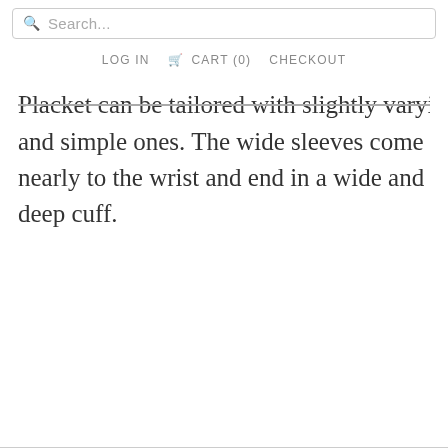Search... LOG IN CART (0) CHECKOUT
Placket can be tailored with slightly varying panels or plain and simple ones. The wide sleeves come nearly to the wrist and end in a wide and deep cuff.